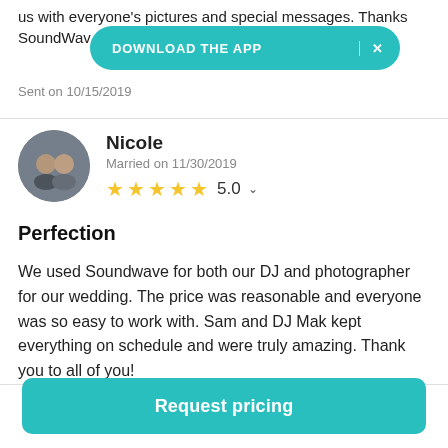us with everyone's pictures and special messages. Thanks SoundWav
[Figure (infographic): Teal pill-shaped download app banner with text 'DOWNLOAD THE APP' and an X close button]
Sent on 10/15/2019
[Figure (photo): Circular avatar photo of a couple]
Nicole
Married on 11/30/2019
★★★★★ 5.0
Perfection
We used Soundwave for both our DJ and photographer for our wedding. The price was reasonable and everyone was so easy to work with. Sam and DJ Mak kept everything on schedule and were truly amazing. Thank you to all of you!
[Figure (infographic): Teal 'Request pricing' button at the bottom of the page]